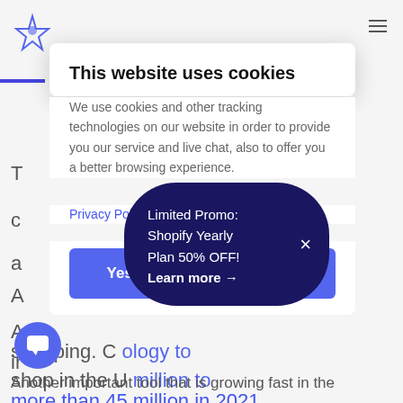[Figure (screenshot): Background website page with navigation, blue underline bar, and partial article text visible behind cookie consent modal]
This website uses cookies
We use cookies and other tracking technologies on our website in order to provide you our service and live chat, also to offer you a better browsing experience.
Privacy Policy
Yes! You have my consent
Limited Promo: Shopify Yearly Plan 50% OFF! Learn more →
more than 45 million in 2021.
Another important tool that is growing fast in the